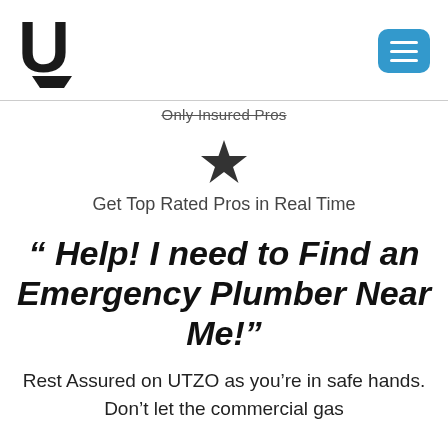[Figure (logo): UTZO logo: bold stylized U letter with a downward pointing chevron/shield shape beneath it]
[Figure (other): Blue rounded rectangle hamburger menu button with three white horizontal lines]
Only Insured Pros
[Figure (other): Black star icon]
Get Top Rated Pros in Real Time
“ Help! I need to Find an Emergency Plumber Near Me!”
Rest Assured on UTZO as you’re in safe hands. Don’t let the commercial gas